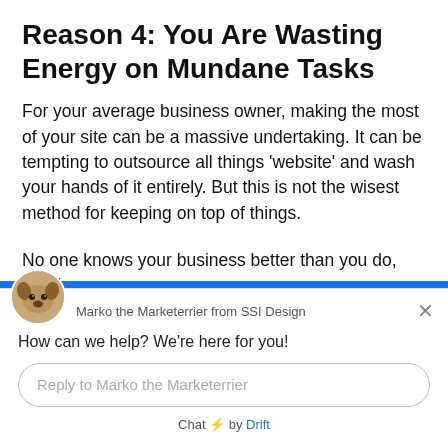Reason 4: You Are Wasting Energy on Mundane Tasks
For your average business owner, making the most of your site can be a massive undertaking. It can be tempting to outsource all things ‘website’ and wash your hands of it entirely. But this is not the wisest method for keeping on top of things.
No one knows your business better than you do, which
[Figure (screenshot): Chat widget popup from Drift showing a dog avatar labeled 'Marko the Marketerrier from SSI Design', with greeting 'How can we help? We’re here for you!', a reply input field, and a footer 'Chat by Drift'.]